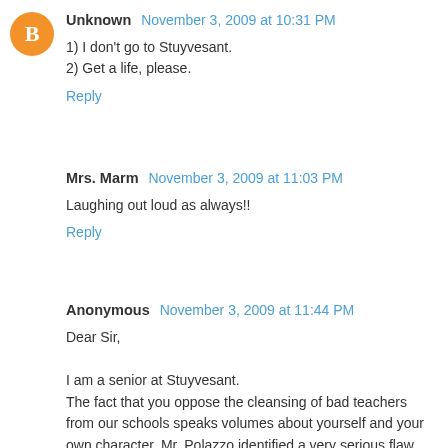Unknown November 3, 2009 at 10:31 PM
1) I don't go to Stuyvesant.
2) Get a life, please.
Reply
Mrs. Marm November 3, 2009 at 11:03 PM
Laughing out loud as always!!
Reply
Anonymous November 3, 2009 at 11:44 PM
Dear Sir,

I am a senior at Stuyvesant.
The fact that you oppose the cleansing of bad teachers from our schools speaks volumes about yourself and your own character. Mr. Polazzo identified a very serious flaw